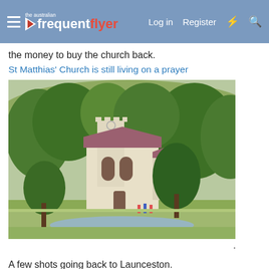the australian frequent flyer | Log in | Register
the money to buy the church back.
St Matthias' Church is still living on a prayer
[Figure (photo): Photo of St Matthias' Church, a white stone church with a Gothic tower and dark red/maroon roof, surrounded by large green trees, with small figures visible near the entrance, pastoral countryside setting.]
A few shots going back to Launceston.
[Figure (photo): Partial view of a landscape photo showing sky and distant hills, presumably taken going back to Launceston.]